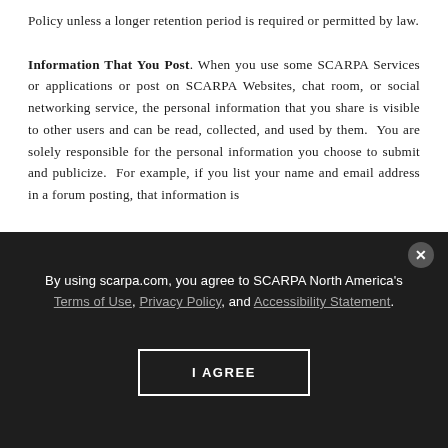Policy unless a longer retention period is required or permitted by law. Information That You Post. When you use some SCARPA Services or applications or post on SCARPA Websites, chat room, or social networking service, the personal information that you share is visible to other users and can be read, collected, and used by them.  You are solely responsible for the personal information you choose to submit and publicize.  For example, if you list your name and email address in a forum posting, that information is
By using scarpa.com, you agree to SCARPA North America's Terms of Use, Privacy Policy, and Accessibility Statement.
I AGREE